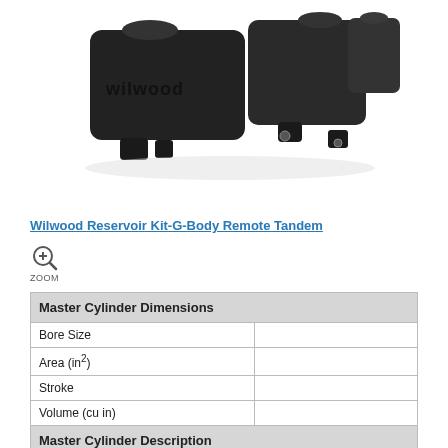[Figure (photo): Wilwood Reservoir Kit-G-Body Remote Tandem product photo showing a black dual-reservoir brake master cylinder assembly with Wilwood branding embossed on the top surface.]
Wilwood Reservoir Kit-G-Body Remote Tandem
[Figure (other): Zoom icon with magnifying glass and plus sign, labeled ZOOM]
| Master Cylinder Dimensions |  |
| --- | --- |
| Bore Size |  |
| Area (in²) |  |
| Stroke |  |
| Volume (cu in) |  |
| Master Cylinder Description |  |
| Type |  |